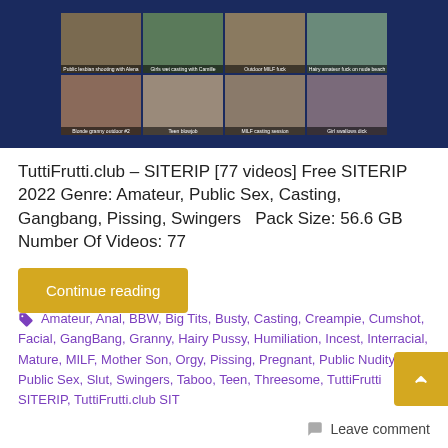[Figure (screenshot): Dark blue banner with a 4x2 grid of thumbnail images from TuttiFrutti.club website]
TuttiFrutti.club – SITERIP [77 videos] Free SITERIP 2022 Genre: Amateur, Public Sex, Casting, Gangbang, Pissing, Swingers   Pack Size: 56.6 GB Number Of Videos: 77
Continue reading
Amateur, Anal, BBW, Big Tits, Busty, Casting, Creampie, Cumshot, Facial, GangBang, Granny, Hairy Pussy, Humiliation, Incest, Interracial, Mature, MILF, Mother Son, Orgy, Pissing, Pregnant, Public Nudity, Public Sex, Slut, Swingers, Taboo, Teen, Threesome, TuttiFrutti SITERIP, TuttiFrutti.club SIT
Leave comment